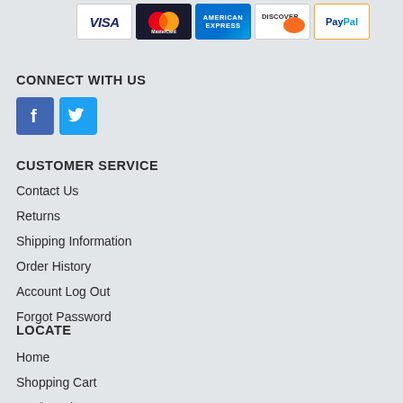[Figure (logo): Payment method logos: Visa, MasterCard, American Express, Discover, PayPal]
CONNECT WITH US
[Figure (logo): Facebook and Twitter social media icon buttons]
CUSTOMER SERVICE
Contact Us
Returns
Shipping Information
Order History
Account Log Out
Forgot Password
LOCATE
Home
Shopping Cart
Product List